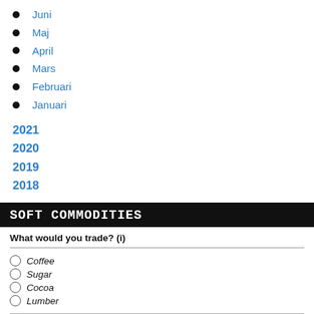Juni
Maj
April
Mars
Februari
Januari
2021
2020
2019
2018
SOFT COMMODITIES
What would you trade? (i)
Coffee
Sugar
Cocoa
Lumber